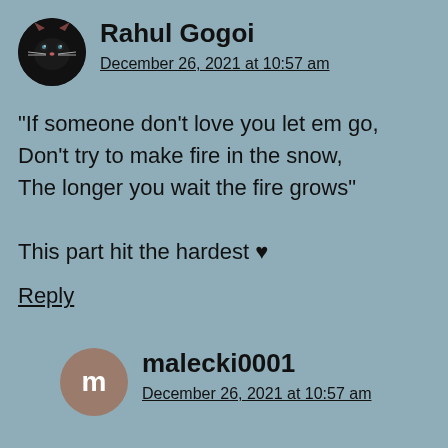Rahul Gogoi
December 26, 2021 at 10:57 am
“If someone don't love you let em go,
Don't try to make fire in the snow,
The longer you wait the fire grows”

This part hit the hardest ♥
Reply
malecki0001
December 26, 2021 at 10:57 am